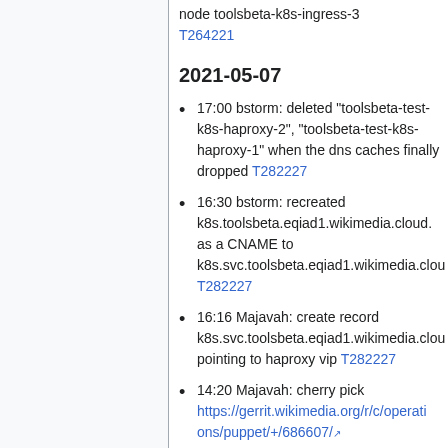node toolsbeta-k8s-ingress-3 T264221
2021-05-07
17:00 bstorm: deleted "toolsbeta-test-k8s-haproxy-2", "toolsbeta-test-k8s-haproxy-1" when the dns caches finally dropped T282227
16:30 bstorm: recreated k8s.toolsbeta.eqiad1.wikimedia.cloud. as a CNAME to k8s.svc.toolsbeta.eqiad1.wikimedia.cloud T282227
16:16 Majavah: create record k8s.svc.toolsbeta.eqiad1.wikimedia.cloud pointing to haproxy vip T282227
14:20 Majavah: cherry pick https://gerrit.wikimedia.org/r/c/operations/puppet/+/686607/
09:44 arturo: `sudo wmes-openstack...